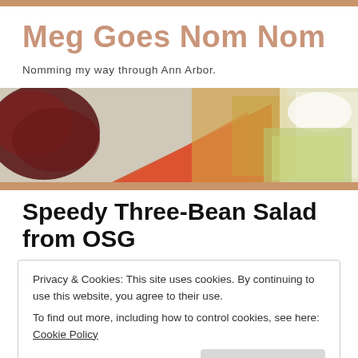Meg Goes Nom Nom
Nomming my way through Ann Arbor.
[Figure (photo): Food photo banner showing charcuterie/cheese plate with red and orange items on left, yellow-green cheese on right]
Speedy Three-Bean Salad from OSG
Privacy & Cookies: This site uses cookies. By continuing to use this website, you agree to their use.
To find out more, including how to control cookies, see here: Cookie Policy
Close and accept
[Figure (photo): Partial food photo at bottom of page]